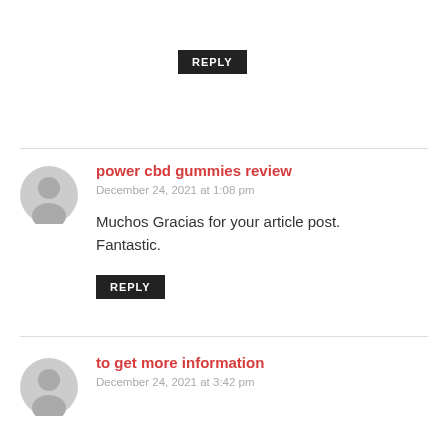REPLY
power cbd gummies review
December 24, 2021 at 1:08 pm
Muchos Gracias for your article post. Fantastic.
REPLY
to get more information
December 24, 2021 at 3:42 pm